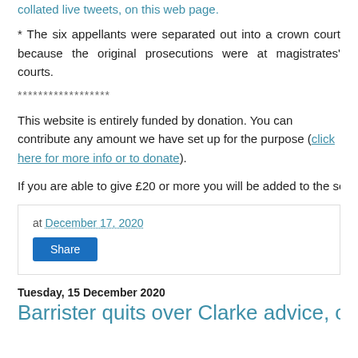collated live tweets, on this web page.
* The six appellants were separated out into a crown court because the original prosecutions were at magistrates' courts.
******************
This website is entirely funded by donation. You can contribute any amount we have set up for the purpose (click here for more info or to donate).
If you are able to give £20 or more you will be added to the secret email list this scandal before they are made public, as well as links to articles and sto
at December 17, 2020
Share
Tuesday, 15 December 2020
Barrister quits over Clarke advice, order